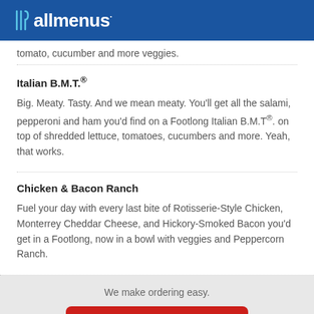allmenus
tomato, cucumber and more veggies.
Italian B.M.T.®
Big. Meaty. Tasty. And we mean meaty. You'll get all the salami, pepperoni and ham you'd find on a Footlong Italian B.M.T®. on top of shredded lettuce, tomatoes, cucumbers and more. Yeah, that works.
Chicken & Bacon Ranch
Fuel your day with every last bite of Rotisserie-Style Chicken, Monterrey Cheddar Cheese, and Hickory-Smoked Bacon you'd get in a Footlong, now in a bowl with veggies and Peppercorn Ranch.
We make ordering easy.
Order with Seamless